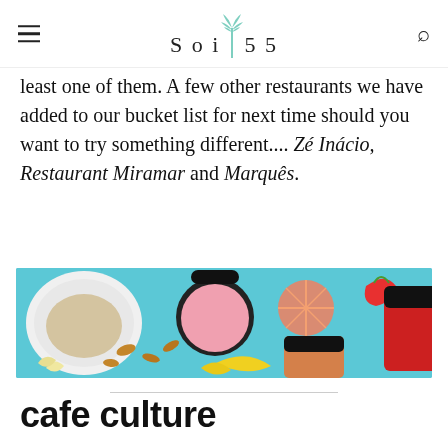Soi 55
least one of them. A few other restaurants we have added to our bucket list for next time should you want to try something different.... Zé Inácio, Restaurant Miramar and Marquês.
[Figure (photo): Colorful flat-lay of body care product jars and lids on a light blue background, surrounded by fruits (grapefruit slices, strawberries, mango) and almonds.]
cafe culture